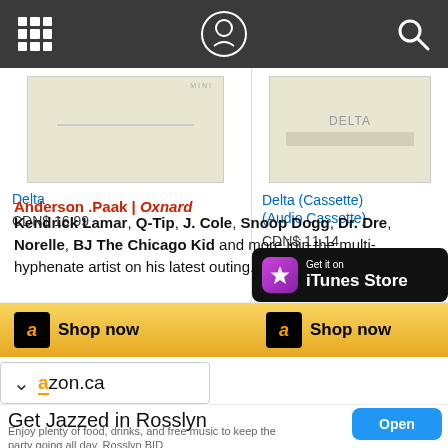Navigation bar with grid icon, logo, and search icon
[Figure (screenshot): Product listing for 'Delta' album - album cover image, tan/cream colored]
Delta
CDN$ 16.99
[Figure (screenshot): Product listing for 'Delta (Cassette) (Audio Cassette)' - cream cassette cover]
Delta (Cassette) (Audio Cassette)
CDN$ 11.14
[Figure (screenshot): Amazon Shop now button - gold background with Amazon 'a' logo]
[Figure (screenshot): Amazon Shop now button - gold background with Amazon 'a' logo]
[Figure (logo): Get it on iTunes Store button - black background with purple star icon]
Anderson .Paak | Oxnard
Kendrick Lamar, Q-Tip, J. Cole, Snoop Dogg, Dr. Dre, Norelle, BJ The Chicago Kid and more join the multi-hyphenate artist on his latest outing.
[Figure (screenshot): Amazon.ca partial dropdown bar with chevron and amazon.ca text]
Get Jazzed in Rosslyn
Enjoy plenty of food, drinks, and free music to keep the party going all day. Rosslyn BID